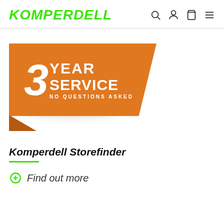KOMPERDELL
[Figure (illustration): 3 Year Service No Questions Asked badge/banner on orange textured background with folded corner effect]
Komperdell Storefinder
Find out more